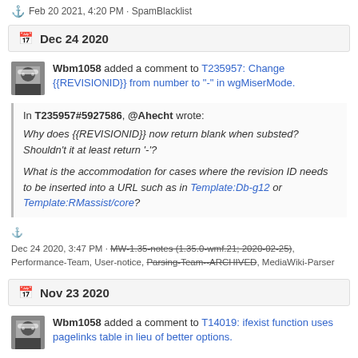Feb 20 2021, 4:20 PM · SpamBlacklist
Dec 24 2020
Wbm1058 added a comment to T235957: Change {{REVISIONID}} from number to "-" in wgMiserMode.
In T235957#5927586, @Ahecht wrote:
Why does {{REVISIONID}} now return blank when substed? Shouldn't it at least return '-'?
What is the accommodation for cases where the revision ID needs to be inserted into a URL such as in Template:Db-g12 or Template:RMassist/core?
Dec 24 2020, 3:47 PM · MW-1.35-notes (1.35.0-wmf.21; 2020-02-25), Performance-Team, User-notice, Parsing-Team--ARCHIVED, MediaWiki-Parser
Nov 23 2020
Wbm1058 added a comment to T14019: ifexist function uses pagelinks table in lieu of better options.